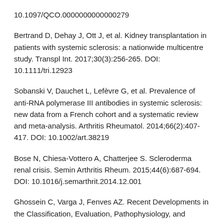10.1097/QCO.0000000000000279
Bertrand D, Dehay J, Ott J, et al. Kidney transplantation in patients with systemic sclerosis: a nationwide multicentre study. Transpl Int. 2017;30(3):256-265. DOI: 10.1111/tri.12923
Sobanski V, Dauchet L, Lefèvre G, et al. Prevalence of anti-RNA polymerase III antibodies in systemic sclerosis: new data from a French cohort and a systematic review and meta-analysis. Arthritis Rheumatol. 2014;66(2):407-417. DOI: 10.1002/art.38219
Bose N, Chiesa-Vottero A, Chatterjee S. Scleroderma renal crisis. Semin Arthritis Rheum. 2015;44(6):687-694. DOI: 10.1016/j.semarthrit.2014.12.001
Ghossein C, Varga J, Fenves AZ. Recent Developments in the Classification, Evaluation, Pathophysiology, and